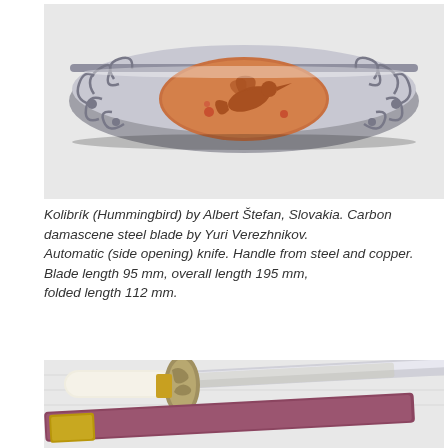[Figure (photo): Close-up photo of a folding knife called Kolibrik (Hummingbird). The handle is silver/pewter colored with ornate scrollwork engravings and a copper-colored oval inlay depicting a hummingbird with flowers.]
Kolibrik (Hummingbird) by Albert Štefan, Slovakia. Carbon damascene steel blade by Yuri Verezhnikov. Automatic (side opening) knife. Handle from steel and copper. Blade length 95 mm, overall length 195 mm, folded length 112 mm.
[Figure (photo): Photo of a decorative sword or dagger with a white/ivory handle, ornate bronze/silver guard with a dragon motif, an engraved steel blade, and a dark red/maroon scabbard with a brass fitting.]